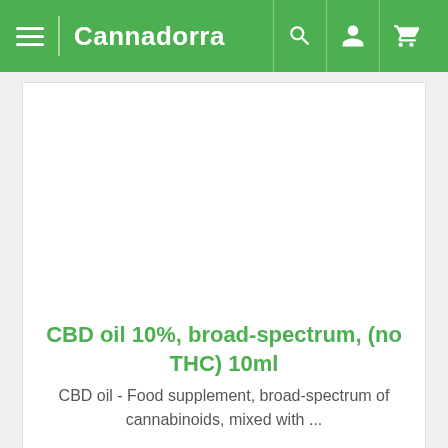Cannadorra
[Figure (screenshot): Product image area (white/blank)]
CBD oil 10%, broad-spectrum, (no THC) 10ml
CBD oil - Food supplement, broad-spectrum of cannabinoids, mixed with ...
39,90 €